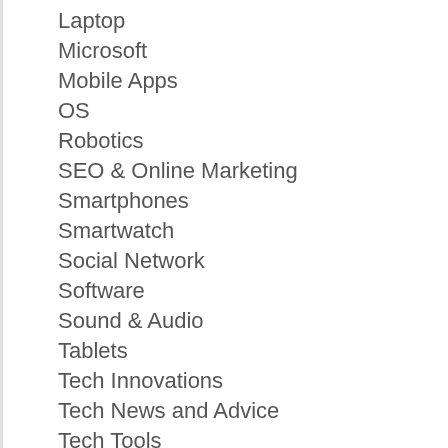Laptop
Microsoft
Mobile Apps
OS
Robotics
SEO & Online Marketing
Smartphones
Smartwatch
Social Network
Software
Sound & Audio
Tablets
Tech Innovations
Tech News and Advice
Tech Tools
TV
Web Design & Hosting